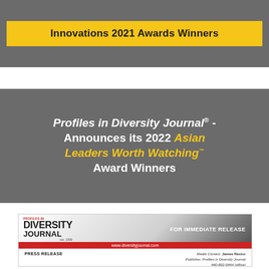Innovations 2021 Awards Winners
Profiles in Diversity Journal® - Announces its 2022 Asian Leaders Worth Watching™ Award Winners
[Figure (other): Profiles in Diversity Journal press release header with logo, FOR IMMEDIATE RELEASE text, red bar with www.diversityjournal.com URL, and media contact information for James Rector, Publisher.]